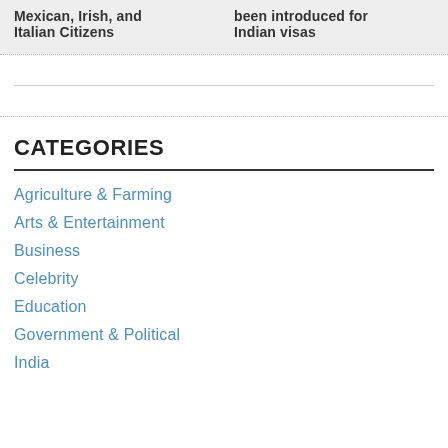Mexican, Irish, and Italian Citizens
been introduced for Indian visas
CATEGORIES
Agriculture & Farming
Arts & Entertainment
Business
Celebrity
Education
Government & Political
India